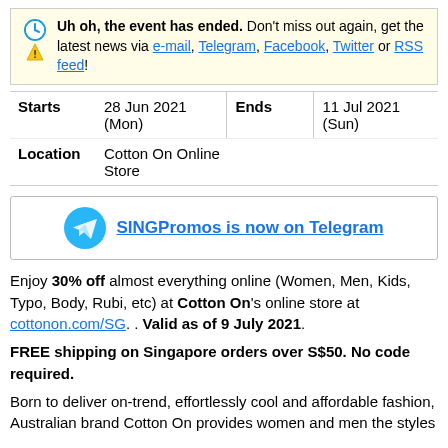Uh oh, the event has ended. Don't miss out again, get the latest news via e-mail, Telegram, Facebook, Twitter or RSS feed!
| Starts | 28 Jun 2021 (Mon) | Ends | 11 Jul 2021 (Sun) |
| --- | --- | --- | --- |
| Location | Cotton On Online Store |  |  |
[Figure (other): SINGPromos is now on Telegram promotional banner with Telegram logo]
Enjoy 30% off almost everything online (Women, Men, Kids, Typo, Body, Rubi, etc) at Cotton On's online store at cottonon.com/SG. . Valid as of 9 July 2021.
FREE shipping on Singapore orders over S$50. No code required.
Born to deliver on-trend, effortlessly cool and affordable fashion, Australian brand Cotton On provides women and men the styles